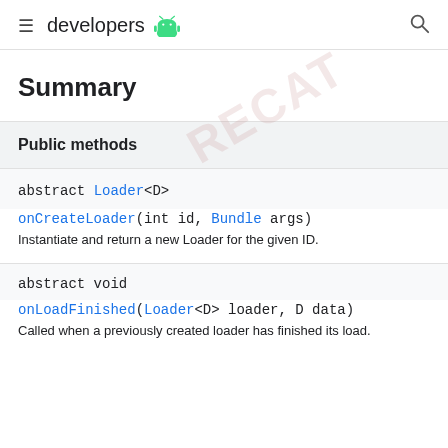developers [android icon]
Summary
| Public methods |
| --- |
| abstract Loader<D> | onCreateLoader(int id, Bundle args) | Instantiate and return a new Loader for the given ID. |
| abstract void | onLoadFinished(Loader<D> loader, D data) | Called when a previously created loader has finished its load. |